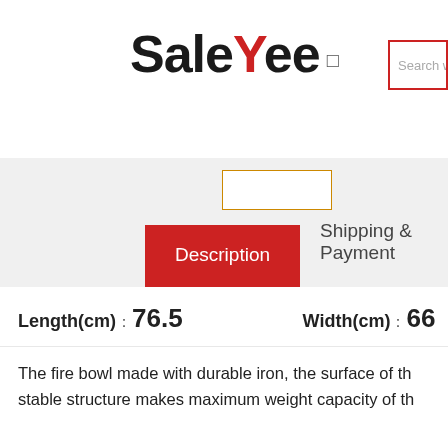SaleYee
Search winning products t
Description | Shipping & Payment
Length(cm)：76.5   Width(cm)：66
The fire bowl made with durable iron, the surface of th stable structure makes maximum weight capacity of th